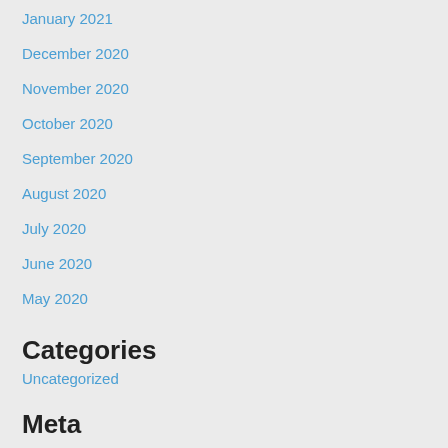January 2021
December 2020
November 2020
October 2020
September 2020
August 2020
July 2020
June 2020
May 2020
Categories
Uncategorized
Meta